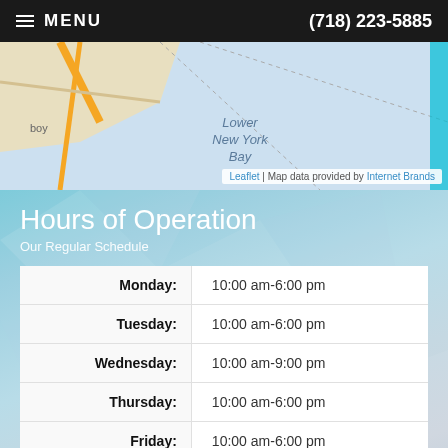MENU  (718) 223-5885
[Figure (map): Partial map showing Lower New York Bay area with streets and water. Map attribution: Leaflet | Map data provided by Internet Brands]
Hours of Operation
Our Regular Schedule
| Day | Hours |
| --- | --- |
| Monday: | 10:00 am-6:00 pm |
| Tuesday: | 10:00 am-6:00 pm |
| Wednesday: | 10:00 am-9:00 pm |
| Thursday: | 10:00 am-6:00 pm |
| Friday: | 10:00 am-6:00 pm |
| Saturday: |  |